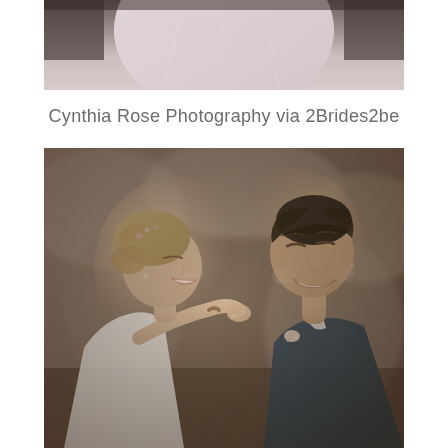[Figure (photo): Top portion of a wedding dress photo, showing the skirt/bodice area in sepia/muted tones, cropped at top of page]
Cynthia Rose Photography via 2Brides2be
[Figure (photo): Two brides laughing and sharing a joyful moment outdoors with rocky background. One bride has blonde updo hair with floral accessories and white lace dress; the other has short dark hair and wears a dark navy suit with boutonniere. Sepia-toned romantic wedding photo.]